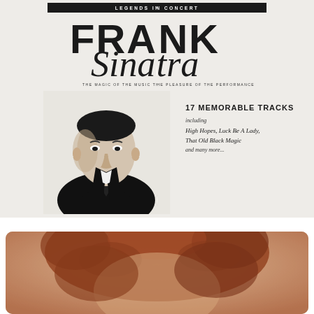[Figure (photo): Frank Sinatra Legends in Concert album cover. Black and white photo of Frank Sinatra in a suit and tie. Text reads: LEGENDS IN CONCERT, FRANK Sinatra, THE MAGIC OF THE MUSIC THE PLEASURE OF THE PERFORMANCE, 17 MEMORABLE TRACKS including High Hopes, Luck Be A Lady, That Old Black Magic and many more...]
[Figure (photo): Close-up photo of a person with curly reddish-brown hair, slightly blurred, warm tones, appears to be a performer or celebrity.]